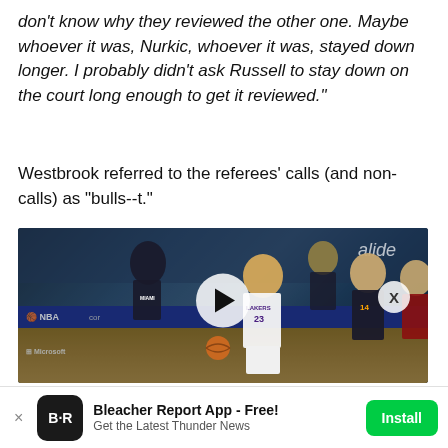don't know why they reviewed the other one. Maybe whoever it was, Nurkic, whoever it was, stayed down longer. I probably didn't ask Russell to stay down on the court long enough to get it reviewed."
Westbrook referred to the referees' calls (and non-calls) as "bulls--t."
[Figure (photo): NBA basketball game video thumbnail showing LeBron James (#23 Lakers) dribbling against Miami Heat defenders, with a play button overlay and an X close button]
Bleacher Report App - Free! Get the Latest Thunder News